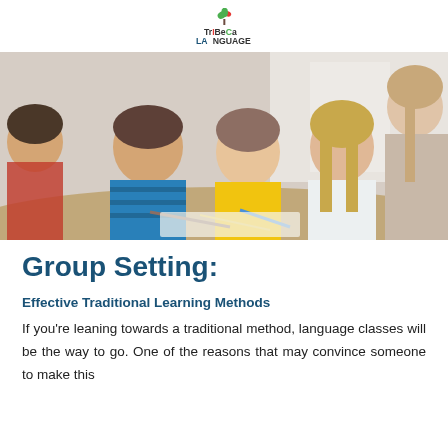TrIBeCa LANGUAGE
[Figure (photo): Children and a teacher gathered around a table working together on a task, looking down at papers/pencils in a classroom setting.]
Group Setting:
Effective Traditional Learning Methods
If you're leaning towards a traditional method, language classes will be the way to go. One of the reasons that may convince someone to make this